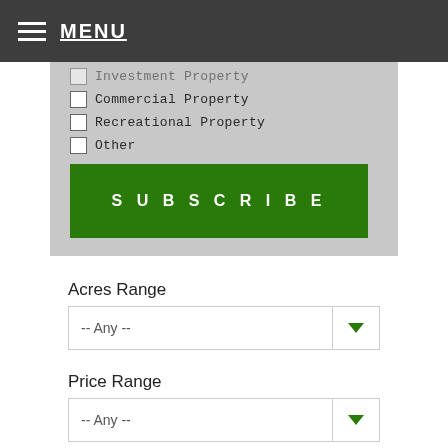MENU
Investment Property
Commercial Property
Recreational Property
Other
SUBSCRIBE
Acres Range
-- Any --
Price Range
-- Any --